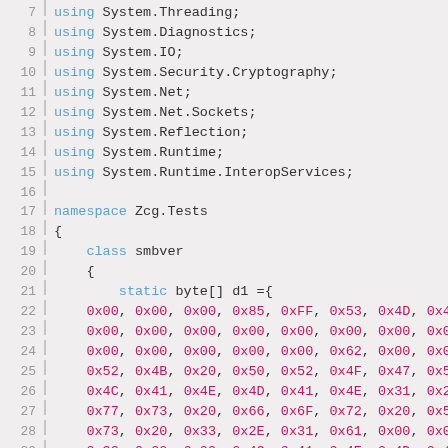Code listing lines 7-29, C# source code with using directives, namespace, class, and byte array data
7  using System.Threading;
8  using System.Diagnostics;
9  using System.IO;
10 using System.Security.Cryptography;
11 using System.Net;
12 using System.Net.Sockets;
13 using System.Reflection;
14 using System.Runtime;
15 using System.Runtime.InteropServices;
16 (blank)
17 namespace Zcg.Tests
18 {
19     class smbver
20     {
21         static byte[] d1 ={
22     0x00, 0x00, 0x00, 0x85, 0xFF, 0x53, 0x4D, 0x4
23     0x00, 0x00, 0x00, 0x00, 0x00, 0x00, 0x00, 0x0
24     0x00, 0x00, 0x00, 0x00, 0x00, 0x62, 0x00, 0x0
25     0x52, 0x4B, 0x20, 0x50, 0x52, 0x4F, 0x47, 0x5
26     0x4C, 0x41, 0x4E, 0x4D, 0x41, 0x4E, 0x31, 0x2
27     0x77, 0x73, 0x20, 0x66, 0x6F, 0x72, 0x20, 0x5
28     0x73, 0x20, 0x33, 0x2E, 0x31, 0x61, 0x00, 0x0
29     0x32, 0x00, 0x02, 0x4C, 0x41, 0x4E, 0x4D, 0x4